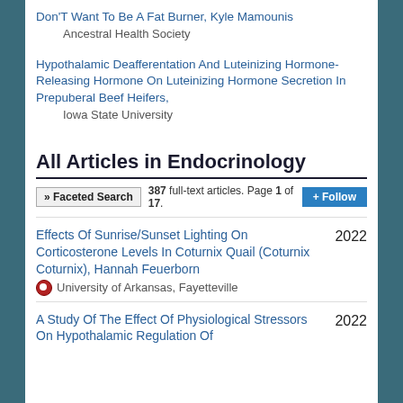Don’T Want To Be A Fat Burner, Kyle Mamounis
    Ancestral Health Society
Hypothalamic Deafferentation And Luteinizing Hormone-Releasing Hormone On Luteinizing Hormone Secretion In Prepuberal Beef Heifers,
    Iowa State University
All Articles in Endocrinology
» Faceted Search   387 full-text articles. Page 1 of 17.   + Follow
Effects Of Sunrise/Sunset Lighting On Corticosterone Levels In Coturnix Quail (Coturnix Coturnix), Hannah Feuerborn
  University of Arkansas, Fayetteville
2022
A Study Of The Effect Of Physiological Stressors On Hypothalamic Regulation Of
2022